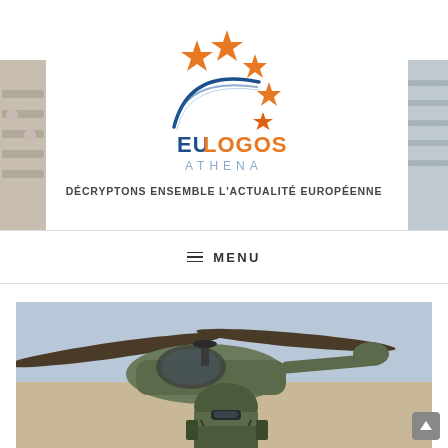[Figure (logo): EU Logos Athena logo with blue arc and orange stars, text EULOGOS ATHENA]
DÉCRYPTONS ENSEMBLE L'ACTUALITÉ EUROPÉENNE
≡  MENU
[Figure (photo): Military helicopter with a soldier in combat gear and helmet in the foreground]